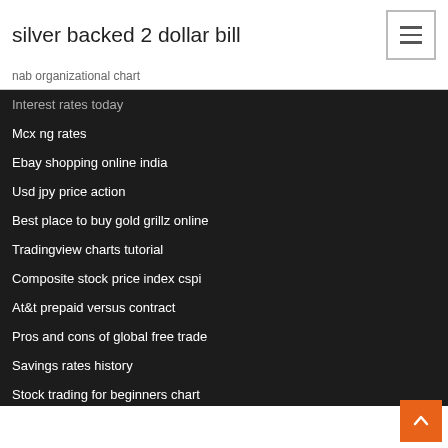silver backed 2 dollar bill
nab organizational chart
Interest rates today
Mcx ng rates
Ebay shopping online india
Usd jpy price action
Best place to buy gold grillz online
Tradingview charts tutorial
Composite stock price index cspi
At&t prepaid versus contract
Pros and cons of global free trade
Savings rates history
Stock trading for beginners chart